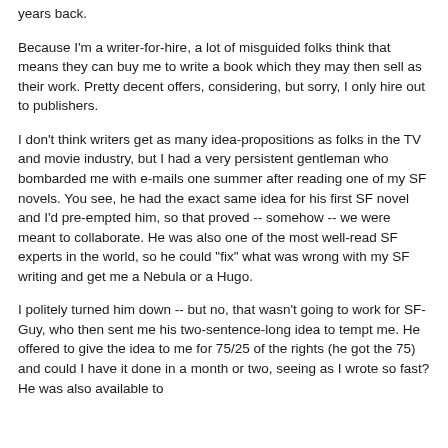years back.
Because I'm a writer-for-hire, a lot of misguided folks think that means they can buy me to write a book which they may then sell as their work. Pretty decent offers, considering, but sorry, I only hire out to publishers.
I don't think writers get as many idea-propositions as folks in the TV and movie industry, but I had a very persistent gentleman who bombarded me with e-mails one summer after reading one of my SF novels. You see, he had the exact same idea for his first SF novel and I'd pre-empted him, so that proved -- somehow -- we were meant to collaborate. He was also one of the most well-read SF experts in the world, so he could "fix" what was wrong with my SF writing and get me a Nebula or a Hugo.
I politely turned him down -- but no, that wasn't going to work for SF-Guy, who then sent me his two-sentence-long idea to tempt me. He offered to give the idea to me for 75/25 of the rights (he got the 75) and could I have it done in a month or two, seeing as I wrote so fast? He was also available to